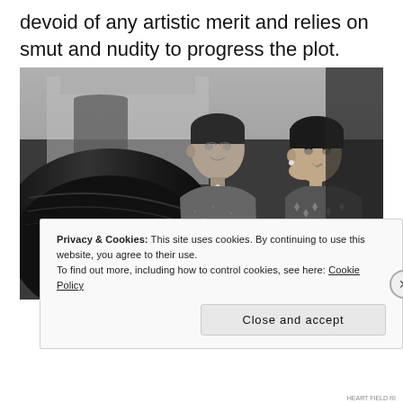devoid of any artistic merit and relies on smut and nudity to progress the plot.
[Figure (photo): Black and white photograph of a man and a woman. The man is on the left, wearing a tweed jacket, looking alert. The woman is on the right, wearing a patterned blouse, resting her hand on her chin. They appear to be outdoors near a large dark curved surface, with a classical building visible in the background.]
Privacy & Cookies: This site uses cookies. By continuing to use this website, you agree to their use.
To find out more, including how to control cookies, see here: Cookie Policy
Close and accept